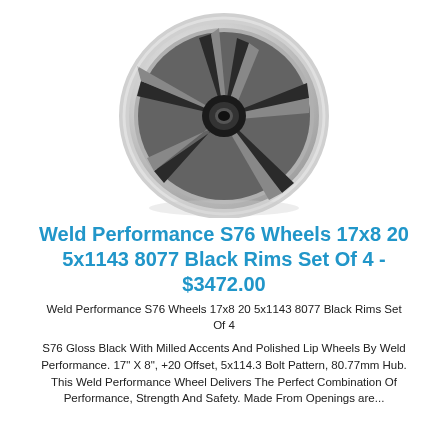[Figure (photo): A chrome and dark gray/black multi-spoke performance wheel (Weld Performance S76) with a polished lip, viewed at a slight angle from the front.]
Weld Performance S76 Wheels 17x8 20 5x1143 8077 Black Rims Set Of 4 - $3472.00
Weld Performance S76 Wheels 17x8 20 5x1143 8077 Black Rims Set Of 4
S76 Gloss Black With Milled Accents And Polished Lip Wheels By Weld Performance. 17" X 8", +20 Offset, 5x114.3 Bolt Pattern, 80.77mm Hub. This Weld Performance Wheel Delivers The Perfect Combination Of Performance, Strength And Safety. Made From Openings are...